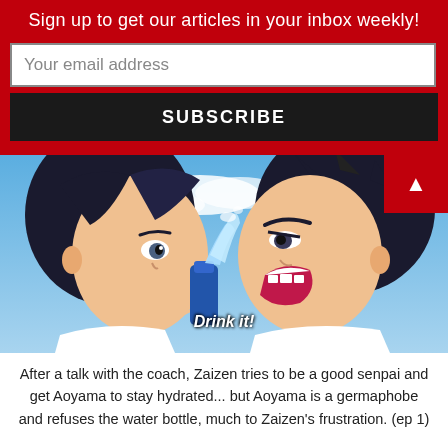Sign up to get our articles in your inbox weekly!
Your email address
SUBSCRIBE
[Figure (screenshot): Anime screenshot showing two characters face to face, one holding a water bottle with water splashing. Subtitle reads 'Drink it!']
After a talk with the coach, Zaizen tries to be a good senpai and get Aoyama to stay hydrated... but Aoyama is a germaphobe and refuses the water bottle, much to Zaizen's frustration. (ep 1)
There are three things Zaizen doesn't understand. First,